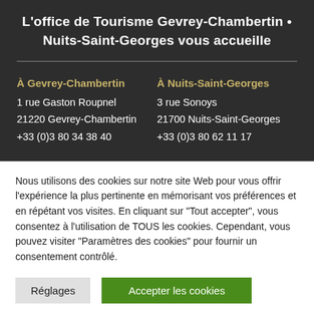L'office de Tourisme Gevrey-Chambertin • Nuits-Saint-Georges vous accueille
À Gevrey-Chambertin
1 rue Gaston Roupnel
21220 Gevrey-Chambertin
+33 (0)3 80 34 38 40

À Nuits-Saint-Georges
3 rue Sonoys
21700 Nuits-Saint-Georges
+33 (0)3 80 62 11 17
Nous utilisons des cookies sur notre site Web pour vous offrir l'expérience la plus pertinente en mémorisant vos préférences et en répétant vos visites. En cliquant sur "Tout accepter", vous consentez à l'utilisation de TOUS les cookies. Cependant, vous pouvez visiter "Paramètres des cookies" pour fournir un consentement contrôlé.
Réglages | Accepter les cookies